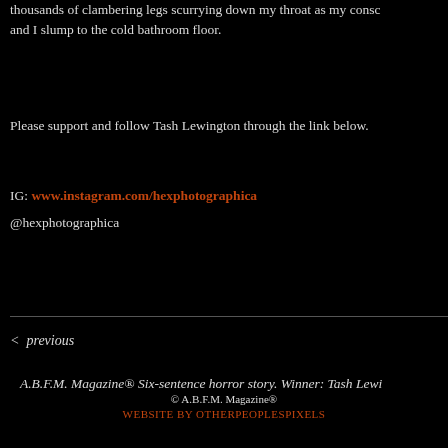thousands of clambering legs scurrying down my throat as my consc and I slump to the cold bathroom floor.
Please support and follow Tash Lewington through the link below.
IG: www.instagram.com/hexphotographica
@hexphotographica
< previous
A.B.F.M. Magazine® Six-sentence horror story. Winner: Tash Lewi
© A.B.F.M. Magazine®
WEBSITE BY OTHERPEOPLESPIXELS